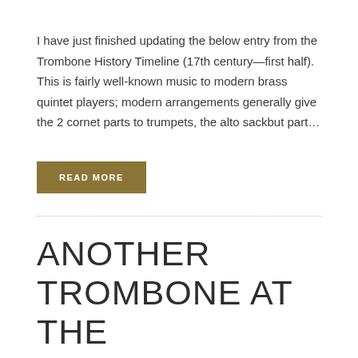I have just finished updating the below entry from the Trombone History Timeline (17th century—first half). This is fairly well-known music to modern brass quintet players; modern arrangements generally give the 2 cornet parts to trumpets, the alto sackbut part...
READ MORE
ANOTHER TROMBONE AT THE RENAISSANCE TABLE
NOVEMBER 5, 2013   WKIMBALL
TROMBONE HISTORY, TROMBONE IMAGES, UPDATES